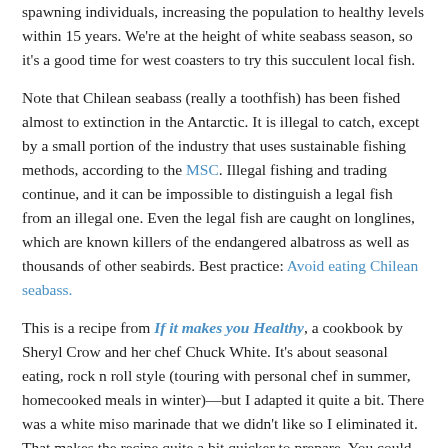spawning individuals, increasing the population to healthy levels within 15 years. We're at the height of white seabass season, so it's a good time for west coasters to try this succulent local fish.
Note that Chilean seabass (really a toothfish) has been fished almost to extinction in the Antarctic. It is illegal to catch, except by a small portion of the industry that uses sustainable fishing methods, according to the MSC. Illegal fishing and trading continue, and it can be impossible to distinguish a legal fish from an illegal one. Even the legal fish are caught on longlines, which are known killers of the endangered albatross as well as thousands of other seabirds. Best practice: Avoid eating Chilean seabass.
This is a recipe from If it makes you Healthy, a cookbook by Sheryl Crow and her chef Chuck White. It's about seasonal eating, rock n roll style (touring with personal chef in summer, homecooked meals in winter)—but I adapted it quite a bit. There was a white miso marinade that we didn't like so I eliminated it. That makes the recipe quite a bit quicker to prepare. You could create a marinade for this… something teriyaki-ish with citrus? The original recipe says